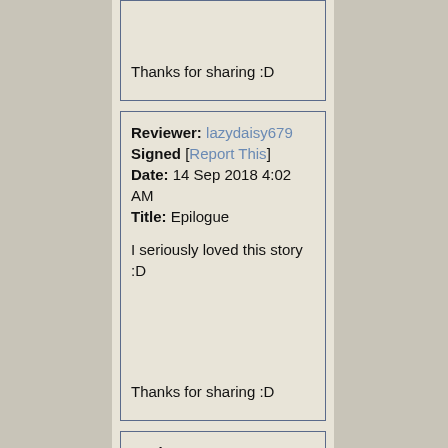Thanks for sharing :D
Reviewer: lazydaisy679 Signed [Report This] Date: 14 Sep 2018 4:02 AM Title: Epilogue

I seriously loved this story :D

Thanks for sharing :D
Reviewer: ThatsMzPeachesTYVM Signed [Report This] Date: 05 Sep 2018 12:19 AM